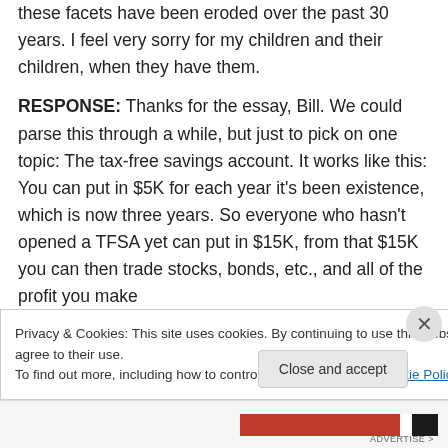these facets have been eroded over the past 30 years. I feel very sorry for my children and their children, when they have them.
RESPONSE: Thanks for the essay, Bill. We could parse this through a while, but just to pick on one topic: The tax-free savings account. It works like this: You can put in $5K for each year it's been existence, which is now three years. So everyone who hasn't opened a TFSA yet can put in $15K, from that $15K you can then trade stocks, bonds, etc., and all of the profit you make
Privacy & Cookies: This site uses cookies. By continuing to use this website, you agree to their use.
To find out more, including how to control cookies, see here: Cookie Policy
Close and accept